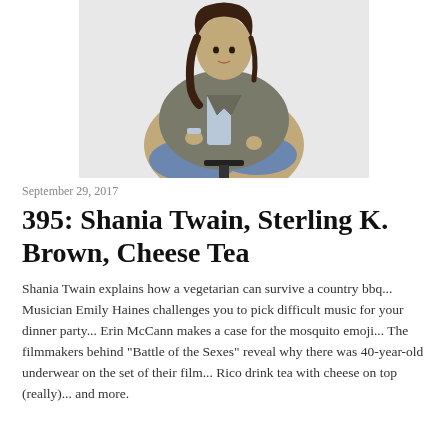[Figure (photo): Woman with long dark hair sitting cross-legged on a stool, wearing a grey blazer over a light blue shirt and jeans, photographed against a white background.]
September 29, 2017
395: Shania Twain, Sterling K. Brown, Cheese Tea
Shania Twain explains how a vegetarian can survive a country bbq... Musician Emily Haines challenges you to pick difficult music for your dinner party... Erin McCann makes a case for the mosquito emoji... The filmmakers behind "Battle of the Sexes" reveal why there was 40-year-old underwear on the set of their film... Rico drink tea with cheese on top (really)... and more.